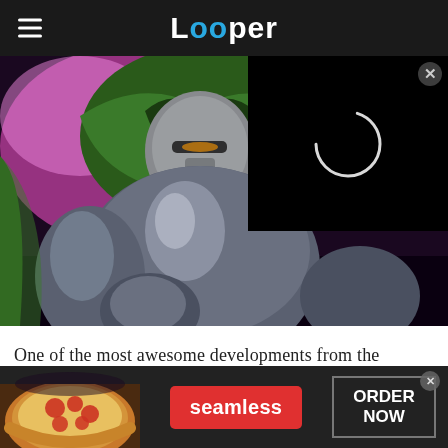Looper
[Figure (illustration): Comic-book illustration of Doctor Doom in metal armor and green hood against a pink/purple background, with a black video player overlay showing a spinning loading indicator and a close button in the top right.]
One of the most awesome developments from the Disney-Fox deal doesn't involve the heroes it brings
[Figure (photo): Advertisement banner: photo of pizza on the left, a red 'seamless' button in the center, and an 'ORDER NOW' button outlined in gray on the right, with an X close button in the top right corner. Dark background.]